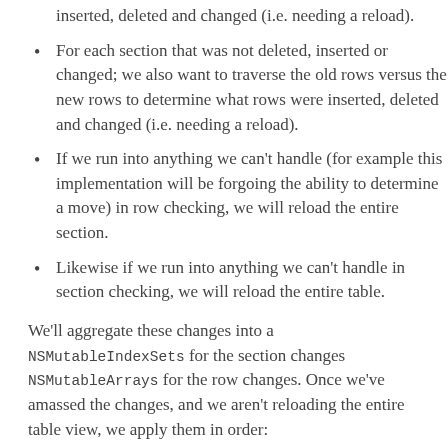sections to determine what sections were inserted, deleted and changed (i.e. needing a reload).
For each section that was not deleted, inserted or changed; we also want to traverse the old rows versus the new rows to determine what rows were inserted, deleted and changed (i.e. needing a reload).
If we run into anything we can't handle (for example this implementation will be forgoing the ability to determine a move) in row checking, we will reload the entire section.
Likewise if we run into anything we can't handle in section checking, we will reload the entire table.
We'll aggregate these changes into a NSMutableIndexSets for the section changes NSMutableArrays for the row changes. Once we've amassed the changes, and we aren't reloading the entire table view, we apply them in order:
1. Delete sections.